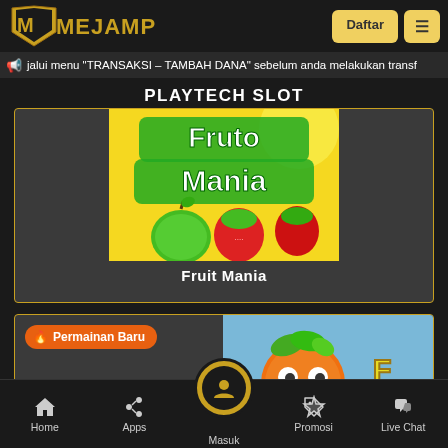[Figure (logo): MejaMPO logo with golden M icon and yellow text]
Daftar
≡
jalui menu "TRANSAKSI – TAMBAH DANA" sebelum anda melakukan transf
PLAYTECH SLOT
[Figure (screenshot): Fruit Mania slot game thumbnail showing fruits including green apple and strawberries on yellow background]
Fruit Mania
[Figure (screenshot): New game card with Permainan Baru badge and animated fruit character game thumbnail]
🔥 Permainan Baru
Home   Apps   Masuk   Promosi   Live Chat